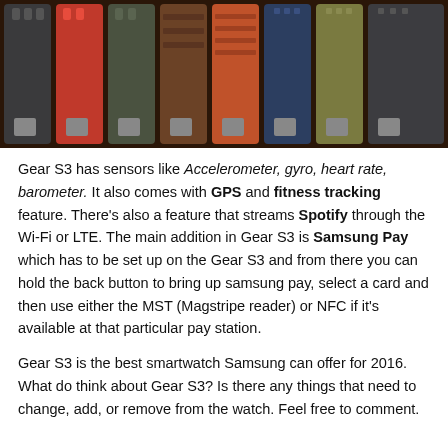[Figure (photo): Multiple Samsung Gear S3 watch bands laid out side by side in various colors including black, red, dark green, brown, orange, dark blue, and olive/yellow-green, on a dark brown background.]
Gear S3 has sensors like Accelerometer, gyro, heart rate, barometer. It also comes with GPS and fitness tracking feature. There's also a feature that streams Spotify through the Wi-Fi or LTE. The main addition in Gear S3 is Samsung Pay which has to be set up on the Gear S3 and from there you can hold the back button to bring up samsung pay, select a card and then use either the MST (Magstripe reader) or NFC if it's available at that particular pay station.
Gear S3 is the best smartwatch Samsung can offer for 2016. What do think about Gear S3? Is there any things that need to change, add, or remove from the watch. Feel free to comment.